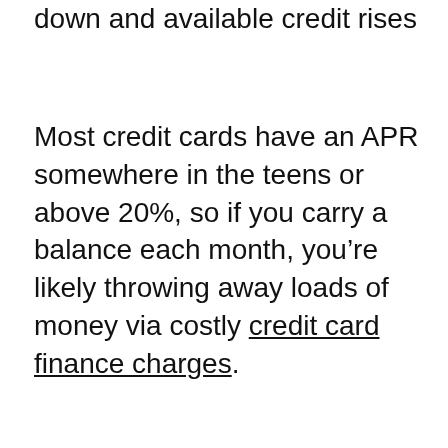down and available credit rises
Most credit cards have an APR somewhere in the teens or above 20%, so if you carry a balance each month, you're likely throwing away loads of money via costly credit card finance charges.